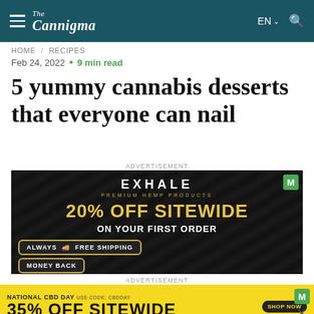The Cannigma
HOME / RECIPES
Feb 24, 2022 • 9 min read
5 yummy cannabis desserts that everyone can nail
ADVERTISEMENT
[Figure (screenshot): Exhale Premium Hemp Products advertisement: 20% OFF SITEWIDE ON YOUR FIRST ORDER, ALWAYS FREE SHIPPING, MONEY BACK]
ADVERTISEMENT
[Figure (screenshot): National CBD Day advertisement: 35% OFF SITEWIDE, SHOP NOW]